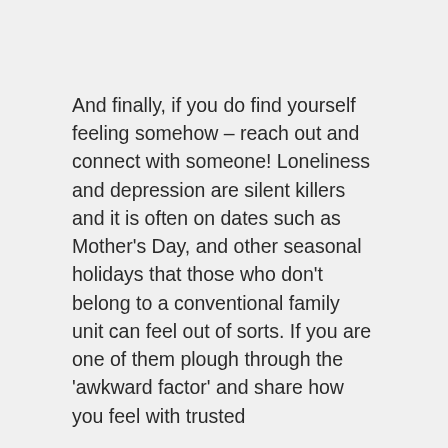And finally, if you do find yourself feeling somehow – reach out and connect with someone! Loneliness and depression are silent killers and it is often on dates such as Mother's Day, and other seasonal holidays that those who don't belong to a conventional family unit can feel out of sorts. If you are one of them plough through the 'awkward factor' and share how you feel with trusted